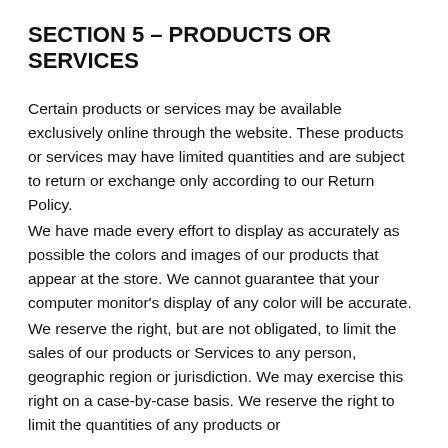SECTION 5 – PRODUCTS OR SERVICES
Certain products or services may be available exclusively online through the website. These products or services may have limited quantities and are subject to return or exchange only according to our Return Policy.
We have made every effort to display as accurately as possible the colors and images of our products that appear at the store. We cannot guarantee that your computer monitor's display of any color will be accurate.
We reserve the right, but are not obligated, to limit the sales of our products or Services to any person, geographic region or jurisdiction. We may exercise this right on a case-by-case basis. We reserve the right to limit the quantities of any products or